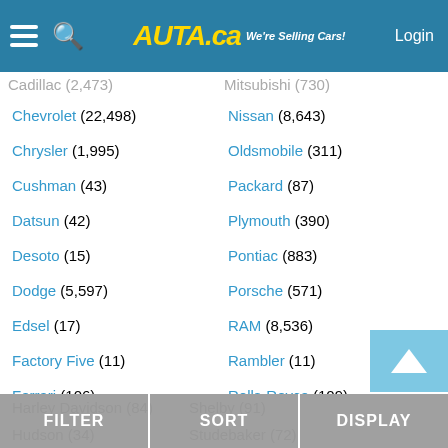Auto.ca — We're Selling Cars! — Login
Cadillac (2,473)
Mitsubishi (730)
Chevrolet (22,498)
Nissan (8,643)
Chrysler (1,995)
Oldsmobile (311)
Cushman (43)
Packard (87)
Datsun (42)
Plymouth (390)
Desoto (15)
Pontiac (883)
Dodge (5,597)
Porsche (571)
Edsel (17)
RAM (8,536)
Factory Five (11)
Rambler (11)
Ferrari (106)
Rolls-Royce (109)
Ford (86,706)
Saturn (57)
GMC (7,540)
Scion (77)
Harley Davidson (84)
Shelby (91)
Hudson (34)
Studebaker (72)